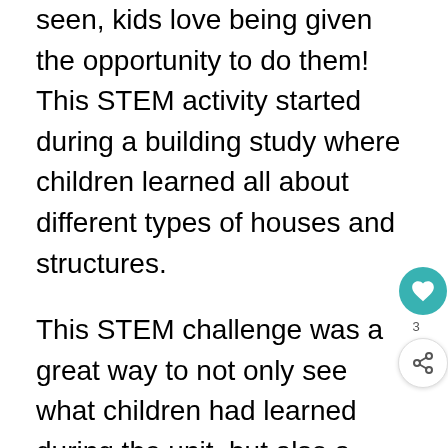seen, kids love being given the opportunity to do them! This STEM activity started during a building study where children learned all about different types of houses and structures.
This STEM challenge was a great way to not only see what children had learned during the unit, but also a great chance for kids to think outside of the box and create a house that they would love.